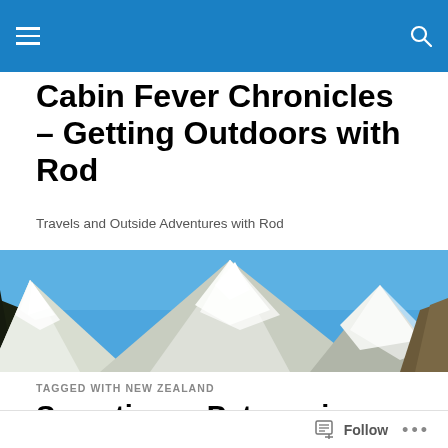Navigation bar with hamburger menu and search icon
Cabin Fever Chronicles – Getting Outdoors with Rod
Travels and Outside Adventures with Rod
[Figure (photo): Panoramic banner photo of snow-capped mountain peaks under a blue sky]
TAGGED WITH NEW ZEALAND
Sometimes, Patagonia = New Zealand
Follow ...